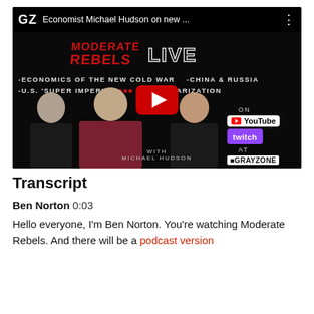[Figure (screenshot): YouTube video thumbnail for 'Economist Michael Hudson on new ...' showing the Moderate Rebels LIVE show with Michael Hudson and two hosts, featuring text about Economics of the New Cold War, China & Russia, U.S. Super Imperialism, De-Dollarization. YouTube play button overlay. Right side shows YouTube, Twitch, and The GrayZone logos.]
Transcript
Ben Norton 0:03
Hello everyone, I'm Ben Norton. You're watching Moderate Rebels. And there will be a podcast version